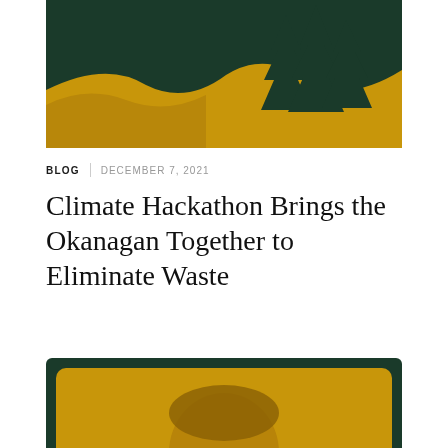[Figure (illustration): Header illustration with dark green background showing silhouettes of pine trees and a gold/yellow landscape shape at the bottom]
BLOG  |  DECEMBER 7, 2021
Climate Hackathon Brings the Okanagan Together to Eliminate Waste
[Figure (photo): Portrait photo of a smiling man with a gold/yellow tint overlay, framed with dark green border and rounded corners]